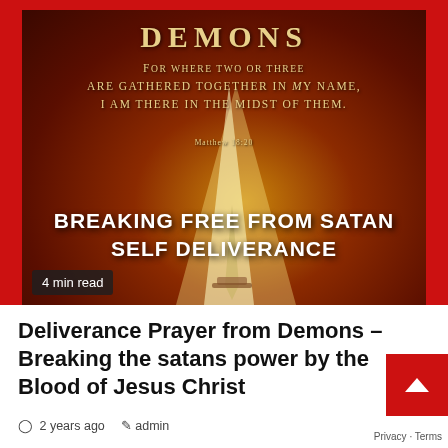[Figure (illustration): Dark red/brown dramatic background with glowing golden light beam and sword imagery. Text overlay reads: DEMONS / For where two or three are gathered together in My name, I am there in the midst of them. Matthew 18:20 / BREAKING FREE FROM SATAN SELF DELIVERANCE. A badge reads '4 min read'.]
Deliverance Prayer from Demons – Breaking the satans power by the Blood of Jesus Christ
2 years ago  admin